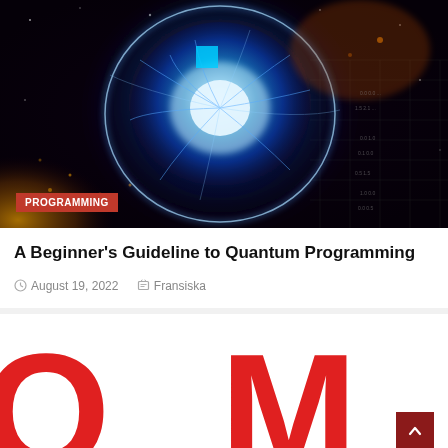[Figure (photo): Abstract quantum computing visualization — glowing blue energy sphere with circuit board patterns on dark background, with a small cyan square overlay near the top center]
PROGRAMMING
A Beginner's Guideline to Quantum Programming
August 19, 2022   Fransiska
[Figure (photo): Partial view of large red letters 'QM' or similar text, cropped at the bottom of the page, with a dark red scroll-to-top button in the bottom right corner]